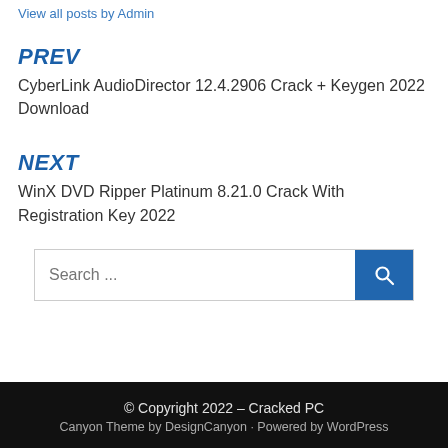View all posts by Admin
PREV
CyberLink AudioDirector 12.4.2906 Crack + Keygen 2022 Download
NEXT
WinX DVD Ripper Platinum 8.21.0 Crack With Registration Key 2022
Search ...
© Copyright 2022 – Cracked PC
Canyon Theme by DesignCanyon · Powered by WordPress